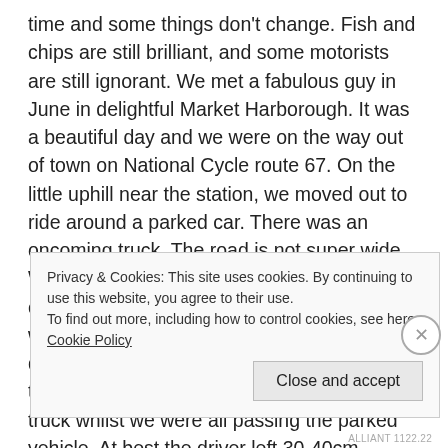time and some things don't change. Fish and chips are still brilliant, and some motorists are still ignorant. We met a fabulous guy in June in delightful Market Harborough. It was a beautiful day and we were on the way out of town on National Cycle route 67. On the little uphill near the station, we moved out to ride around a parked car. There was an oncoming truck. The road is not super wide. We heard a vehicle behind us. As other cyclists will know, you can tell from the sound when the approaching vehicle isn't slowing down, and sure enough a van driver decided to squeeze between us and the oncoming truck whilst we were all passing the parked vehicle. At best the driver left 30-40cm between the van and us. I was in front, and as the
Privacy & Cookies: This site uses cookies. By continuing to use this website, you agree to their use. To find out more, including how to control cookies, see here: Cookie Policy
Close and accept